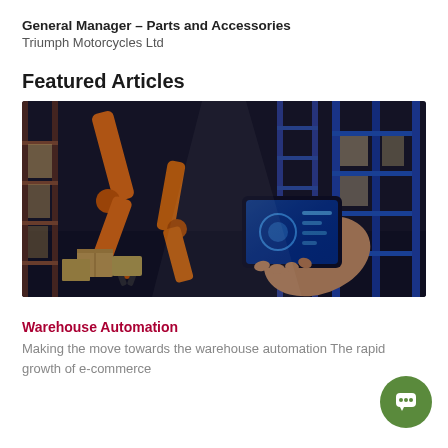General Manager – Parts and Accessories
Triumph Motorcycles Ltd
Featured Articles
[Figure (photo): Warehouse automation photo showing an industrial robotic arm in orange/yellow color in a warehouse with blue shelving racks stocked with boxes, and a person's hand holding a tablet with a digital interface displayed on the screen.]
Warehouse Automation
Making the move towards the warehouse automation The rapid growth of e-commerce